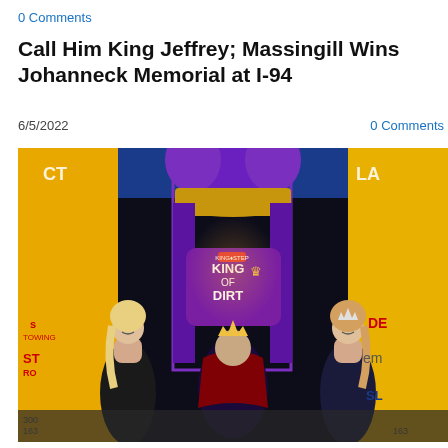0 Comments
Call Him King Jeffrey; Massingill Wins Johanneck Memorial at I-94
6/5/2022
0 Comments
[Figure (photo): Race winner sitting on a King of Dirt throne prop on a victory lane stage, flanked by two women in evening gowns, with sponsor banners visible in background including VICTORY LANE, TOWING, DEH, em, and SL signage.]